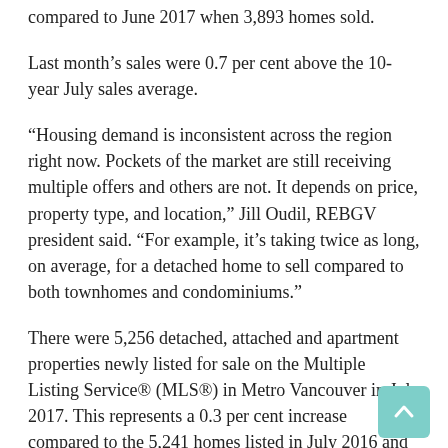compared to June 2017 when 3,893 homes sold.
Last month's sales were 0.7 per cent above the 10-year July sales average.
“Housing demand is inconsistent across the region right now. Pockets of the market are still receiving multiple offers and others are not. It depends on price, property type, and location,” Jill Oudil, REBGV president said. “For example, it’s taking twice as long, on average, for a detached home to sell compared to both townhomes and condominiums.”
There were 5,256 detached, attached and apartment properties newly listed for sale on the Multiple Listing Service® (MLS®) in Metro Vancouver in July 2017. This represents a 0.3 per cent increase compared to the 5,241 homes listed in July 2016 and an 8.1 per cent decrease compared to June 2017 when 5,721 homes were listed.
The total number of properties currently listed for sale on the